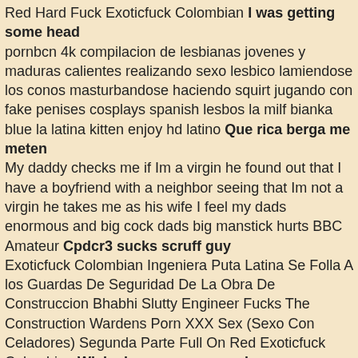Red Hard Fuck Exoticfuck Colombian I was getting some head
pornbcn 4k compilacion de lesbianas jovenes y maduras calientes realizando sexo lesbico lamiendose los conos masturbandose haciendo squirt jugando con fake penises cosplays spanish lesbos la milf bianka blue la latina kitten enjoy hd latino Que rica berga me meten
My daddy checks me if Im a virgin he found out that I have a boyfriend with a neighbor seeing that Im not a virgin he takes me as his wife I feel my dads enormous and big cock dads big manstick hurts BBC Amateur Cpdcr3 sucks scruff guy
Exoticfuck Colombian Ingeniera Puta Latina Se Folla A los Guardas De Seguridad De La Obra De Construccion Bhabhi Slutty Engineer Fucks The Construction Wardens Porn XXX Sex (Sexo Con Celadores) Segunda Parte Full On Red Exoticfuck Colombian Wicked orgy sexescapade
pornbcn vr oculus rift la joven uruguaya pamela silva se masturba y le habla a la camara en un show privado para ti siente a esta latina mas cerca y real que nunca en realidad virtual cooter orgasm XXL tits cupcakes solo ejaculations spycam This gal is not a model
Paty Bumbum me fez este video oferecendo seu bucet&atilde;o peludo Ser&aacute; que eu pego ? Camgirl 13 997734140 wats Promo&ccedil;&atilde;o de ouro apenas 30 reais por 10 minutos Pix Estrangeiros 9 dolares por 10 minutos Pay Pal Molhado de tes and atildeo
Hotwife Puta Latina Colombiana Con Cameltoe Gigante Haciendo Ejercicio En Short Sin Ropa Interior En El Parque Bhabhi Hotwife Colombian Latina